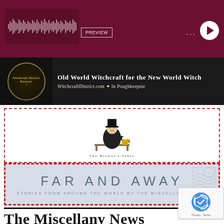[Figure (other): Audio player with dark maroon/burgundy background showing a waveform, PREVIEW button, three dots menu, and circular play button]
[Figure (other): Witchcraft District Bazaar advertisement — black background with gold logo on left and text: 'Old World Witchcraft for the New World Witch / WitchcraftDistrict.com ✦ In Poughkeepsie']
[Figure (other): The Brewer's Table logo — illustration of a man in top hat holding a beer mug at a table, inside a red dashed border box]
[Figure (other): Far and Away banner — light blue-grey background, large text 'FAR AND AWAY', subtitle 'STORIES FROM AROUND THE WORLD BY THE MISCELLANY NEWS', stamp decoration top right, red dashed border]
The Miscellany News